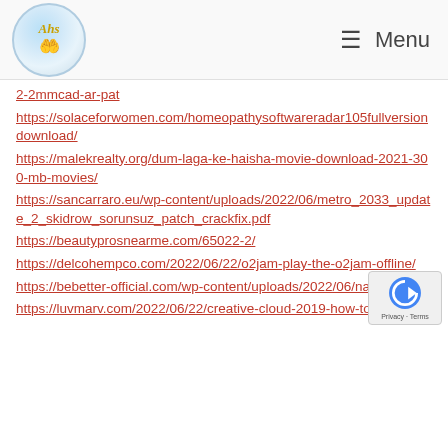Menu
https://solaceforwomen.com/homeopathysoftwareradar105fullversiondownload/
https://malekrealty.org/dum-laga-ke-haisha-movie-download-2021-300-mb-movies/
https://sancarraro.eu/wp-content/uploads/2022/06/metro_2033_update_2_skidrow_sorunsuz_patch_crackfix.pdf
https://beautyprosnearme.com/65022-2/
https://delcohempco.com/2022/06/22/o2jam-play-the-o2jam-offline/
https://bebetter-official.com/wp-content/uploads/2022/06/navlead.pdf
https://luvmarv.com/2022/06/22/creative-cloud-2019-how-to…